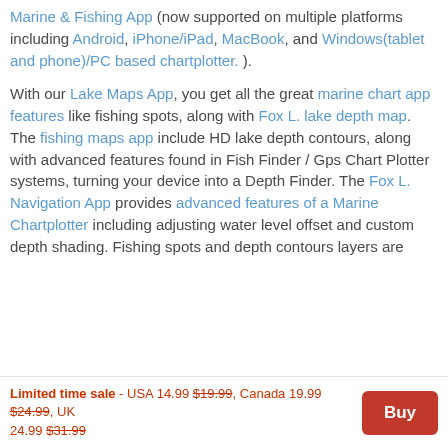Marine & Fishing App (now supported on multiple platforms including Android, iPhone/iPad, MacBook, and Windows(tablet and phone)/PC based chartplotter. ).
With our Lake Maps App, you get all the great marine chart app features like fishing spots, along with Fox L. lake depth map. The fishing maps app include HD lake depth contours, along with advanced features found in Fish Finder / Gps Chart Plotter systems, turning your device into a Depth Finder. The Fox L. Navigation App provides advanced features of a Marine Chartplotter including adjusting water level offset and custom depth shading. Fishing spots and depth contours layers are
Limited time sale - USA 14.99 $19.99, Canada 19.99 $24.99, UK 24.99 $31.99